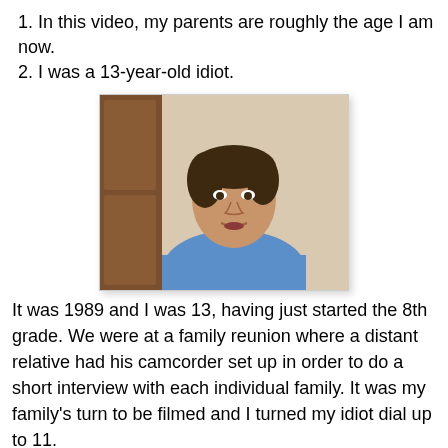1. In this video, my parents are roughly the age I am now.
2. I was a 13-year-old idiot.
[Figure (photo): A teenage boy with dark hair wearing a blue long-sleeve shirt, photographed indoors near a wooden door, holding something white, looking at the camera with mouth slightly open.]
It was 1989 and I was 13, having just started the 8th grade. We were at a family reunion where a distant relative had his camcorder set up in order to do a short interview with each individual family. It was my family's turn to be filmed and I turned my idiot dial up to 11.
Literally six seconds into the clip, I was already turning my eyelids inside out (that's me in the middle).